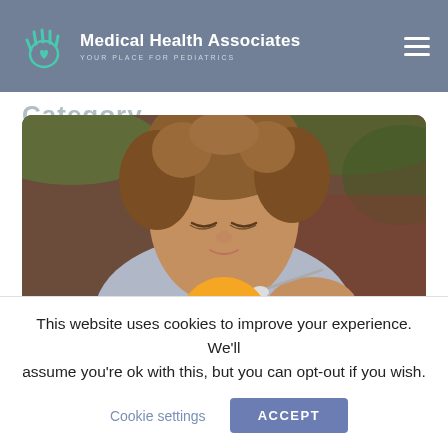Medical Health Associates — YOUR PLACE FOR PEDIATRICS
Category
[Figure (photo): Young curly-haired toddler in a grey shirt eating with a spoon from a white bowl, looking down at the food, with a warm bokeh background. A circular golden date badge overlays the bottom center showing JULY 28 2022.]
This website uses cookies to improve your experience. We'll assume you're ok with this, but you can opt-out if you wish.
Cookie settings
ACCEPT